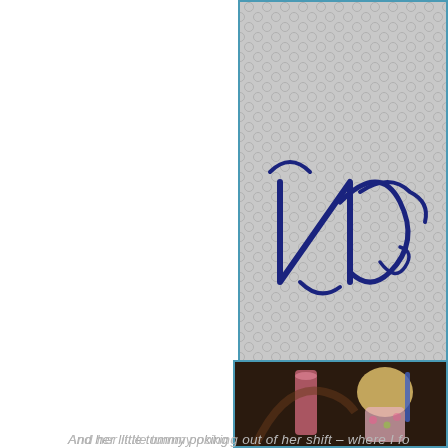[Figure (photo): Close-up photo of a tattoo showing dark blue script/lettering on skin with a hexagonal mesh or fishnet pattern overlay, positioned in the top-right area of the page]
And her little tummy poking out of her shift - where I fo and dustpan for a book:
[Figure (photo): Photo of a young child/toddler with blonde hair wearing a floral outfit, holding or near a pink cylindrical container, with dark background, positioned in the bottom-right area]